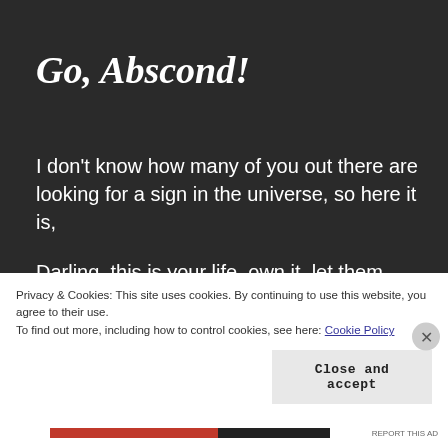Go, Abscond!
I don't know how many of you out there are looking for a sign in the universe, so here it is,
Darling, this is your life, own it, let them miss you for a while,
Let your absence be the answer to all the questions,
Privacy & Cookies: This site uses cookies. By continuing to use this website, you agree to their use.
To find out more, including how to control cookies, see here: Cookie Policy
Close and accept